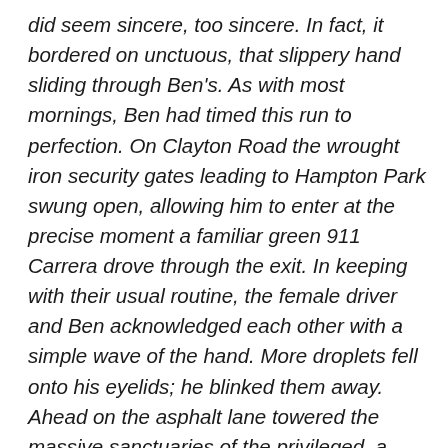did seem sincere, too sincere. In fact, it bordered on unctuous, that slippery hand sliding through Ben's. As with most mornings, Ben had timed this run to perfection. On Clayton Road the wrought iron security gates leading to Hampton Park swung open, allowing him to enter at the precise moment a familiar green 911 Carrera drove through the exit. In keeping with their usual routine, the female driver and Ben acknowledged each other with a simple wave of the hand. More droplets fell onto his eyelids; he blinked them away. Ahead on the asphalt lane towered the massive sanctuaries of the privileged, a state of upper class grace Ben harbored no illusions of ever achieving, unless he somehow maneuvered a takeover of the sporting goods company that recently promoted him to a divisional manager position. Not bad for a guy who struggled